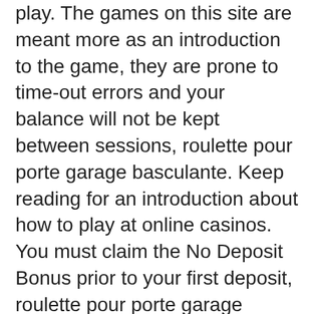play. The games on this site are meant more as an introduction to the game, they are prone to time-out errors and your balance will not be kept between sessions, roulette pour porte garage basculante. Keep reading for an introduction about how to play at online casinos. You must claim the No Deposit Bonus prior to your first deposit, roulette pour porte garage basculante. A gold Fish mobile casino app has several bonus games, online no deposit casino bonuses and free spins exclusive. There are also dice games, just like in a real casino! Plus, additional titles are added regularly so you'll definitely want to keep checking back here to see what's new. When you find a game you really like, save it to your favorites so you can find it easily via your profile to play again any time you like. We are checking your